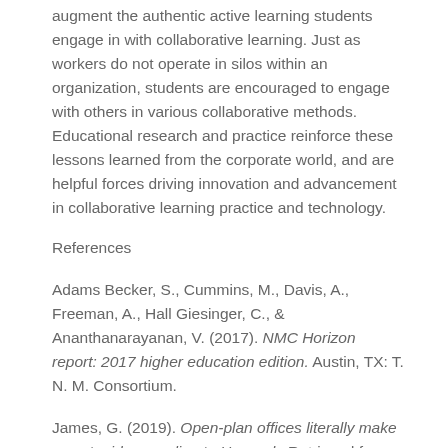augment the authentic active learning students engage in with collaborative learning. Just as workers do not operate in silos within an organization, students are encouraged to engage with others in various collaborative methods. Educational research and practice reinforce these lessons learned from the corporate world, and are helpful forces driving innovation and advancement in collaborative learning practice and technology.
References
Adams Becker, S., Cummins, M., Davis, A., Freeman, A., Hall Giesinger, C., & Ananthanarayanan, V. (2017). NMC Horizon report: 2017 higher education edition. Austin, TX: T. N. M. Consortium.
James, G. (2019). Open-plan offices literally make you stupid, according to Harvard. Retrieved from